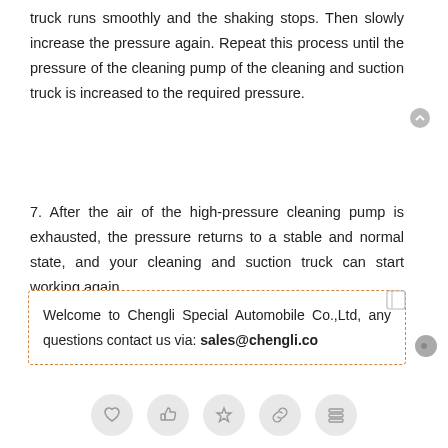truck runs smoothly and the shaking stops. Then slowly increase the pressure again. Repeat this process until the pressure of the cleaning pump of the cleaning and suction truck is increased to the required pressure.
7. After the air of the high-pressure cleaning pump is exhausted, the pressure returns to a stable and normal state, and your cleaning and suction truck can start working again.
Welcome to Chengli Special Automobile Co.,Ltd, any questions contact us via: sales@chengli.co